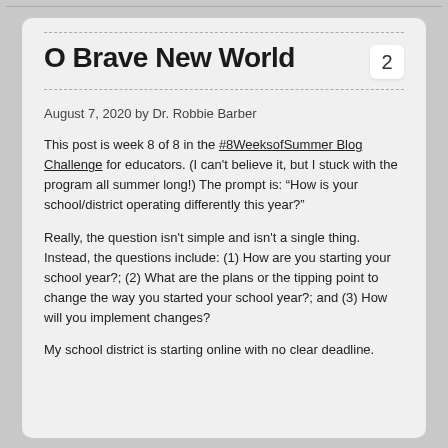O Brave New World
August 7, 2020 by Dr. Robbie Barber
This post is week 8 of 8 in the #8WeeksofSummer Blog Challenge for educators. (I can't believe it, but I stuck with the program all summer long!) The prompt is: “How is your school/district operating differently this year?”
Really, the question isn't simple and isn't a single thing. Instead, the questions include: (1) How are you starting your school year?; (2) What are the plans or the tipping point to change the way you started your school year?; and (3) How will you implement changes?
My school district is starting online with no clear deadline.